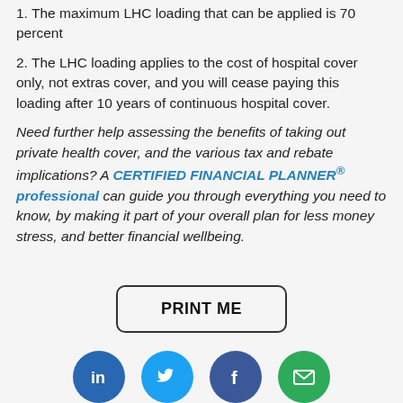1. The maximum LHC loading that can be applied is 70 percent
2. The LHC loading applies to the cost of hospital cover only, not extras cover, and you will cease paying this loading after 10 years of continuous hospital cover.
Need further help assessing the benefits of taking out private health cover, and the various tax and rebate implications? A CERTIFIED FINANCIAL PLANNER® professional can guide you through everything you need to know, by making it part of your overall plan for less money stress, and better financial wellbeing.
[Figure (other): PRINT ME button with rounded rectangle border]
[Figure (other): Social media icons row: LinkedIn, Twitter, Facebook, Email]